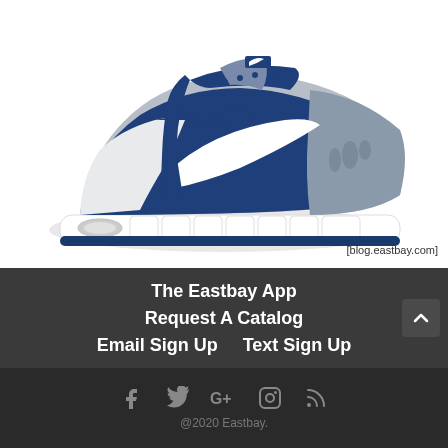[Figure (photo): Nike training shoe in navy blue, white, and gray colorway, displayed on white background with Air Max sole unit visible]
[blog.eastbay.com]
The Eastbay App
Request A Catalog
Email Sign Up    Text Sign Up
@2020 Eastbay.